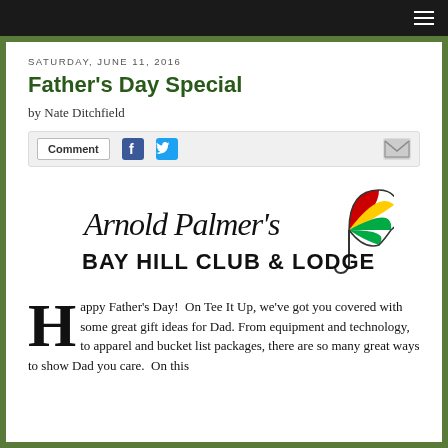SATURDAY, JUNE 11, 2016
Father's Day Special
by Nate Ditchfield
[Figure (other): Social sharing bar with Comment button, Facebook icon, Twitter icon, and email icon]
[Figure (logo): Arnold Palmer's Bay Hill Club & Lodge logo with signature script text and colorful umbrella]
Happy Father's Day!  On Tee It Up, we've got you covered with some great gift ideas for Dad. From equipment and technology, to apparel and bucket list packages, there are so many great ways to show Dad you care.  On this